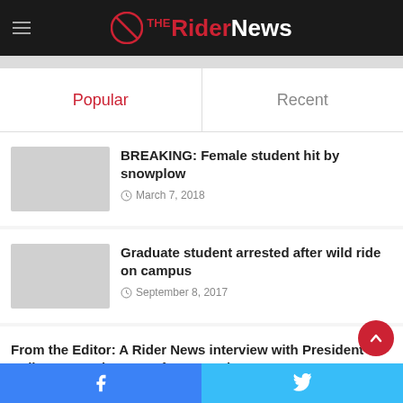The Rider News
[Figure (screenshot): Partial banner image strip]
Popular
Recent
BREAKING: Female student hit by snowplow
March 7, 2018
Graduate student arrested after wild ride on campus
September 8, 2017
From the Editor: A Rider News interview with President Dell'Omo sparks worry for Westminster